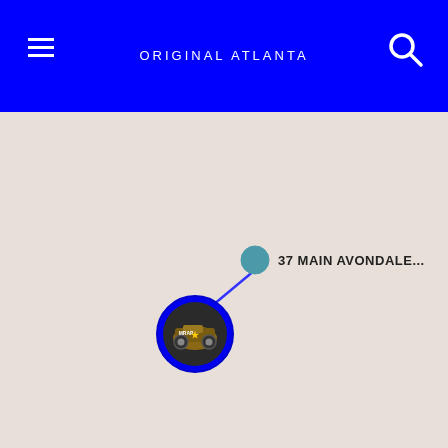ORIGINAL ATLANTA
[Figure (map): Interactive map showing a location marker with an image (MRAP vehicle icon) connected by a blue line to a smaller teal dot labeled '37 MAIN AVONDALE...' on a beige map background]